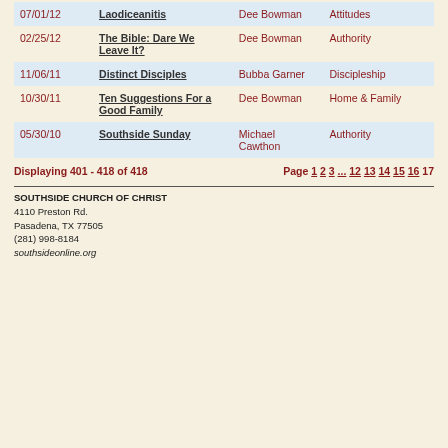| Date | Title | Speaker | Topic |
| --- | --- | --- | --- |
| 07/01/12 | Laodiceanitis | Dee Bowman | Attitudes |
| 02/25/12 | The Bible: Dare We Leave It? | Dee Bowman | Authority |
| 11/06/11 | Distinct Disciples | Bubba Garner | Discipleship |
| 10/30/11 | Ten Suggestions For a Good Family | Dee Bowman | Home & Family |
| 05/30/10 | Southside Sunday | Michael Cawthon | Authority |
Displaying 401 - 418 of 418   Page 1 2 3 ... 12 13 14 15 16 17
SOUTHSIDE CHURCH OF CHRIST
4110 Preston Rd.
Pasadena, TX 77505
(281) 998-8184
southsideonline.org